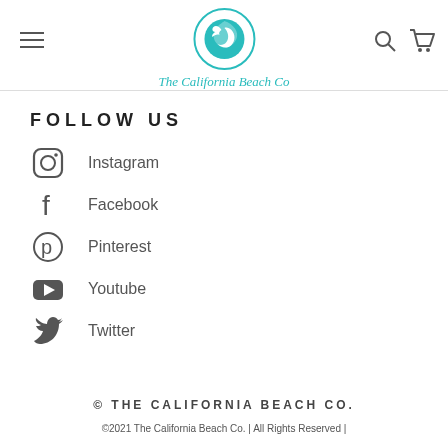[Figure (logo): The California Beach Co. logo — teal circular wave/surfer emblem with script text beneath]
FOLLOW US
Instagram
Facebook
Pinterest
Youtube
Twitter
© THE CALIFORNIA BEACH CO.
©2021 The California Beach Co. | All Rights Reserved |